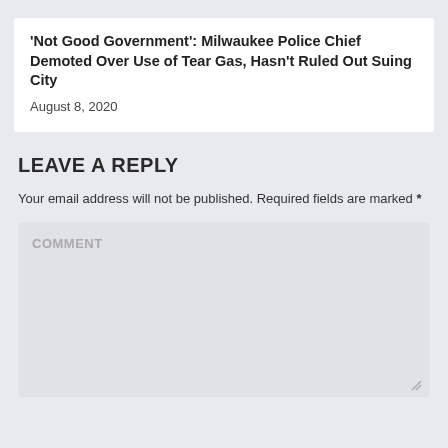'Not Good Government': Milwaukee Police Chief Demoted Over Use of Tear Gas, Hasn't Ruled Out Suing City
August 8, 2020
LEAVE A REPLY
Your email address will not be published. Required fields are marked *
COMMENT